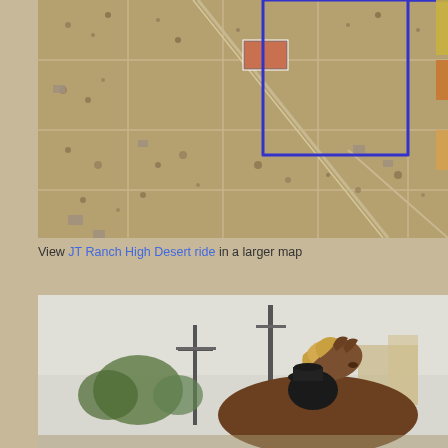[Figure (map): Aerial satellite map view of desert/rural area with a blue polygon boundary line marking a specific property or route labeled JT Ranch High Desert ride. Grid-like road network visible with sparse desert vegetation.]
View JT Ranch High Desert ride in a larger map
[Figure (photo): Photo of a person on horseback, viewed from behind/side showing the horse's head with mane, the rider wearing a dark hat, with utility poles and buildings in the background.]